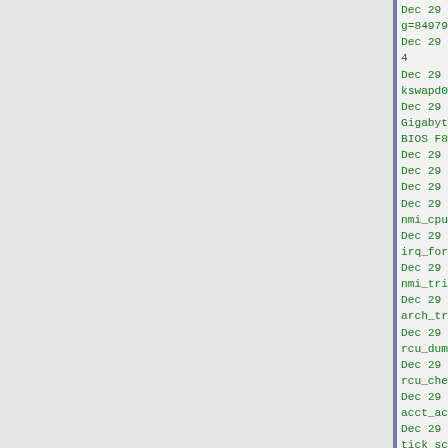Dec 29 21:43:10 computer1 kernel: \x09 g=8497947 c=8497946 q=68943)
Dec 29 21:43:10 computer1 kernel: NMI b 4
Dec 29 21:43:10 computer1 kernel: CPU: kswapd0 Tainted: P      O    4.12.
Dec 29 21:43:10 computer1 kernel: Hardw Gigabyte Technology Co., Ltd. P67A-UD4- BIOS F8 03/21/2012
Dec 29 21:43:10 computer1 kernel: Call
Dec 29 21:43:10 computer1 kernel: <IRQ
Dec 29 21:43:10 computer1 kernel: dump
Dec 29 21:43:10 computer1 kernel: nmi_cpu_backtrace+0x95/0xa0
Dec 29 21:43:10 computer1 kernel: ? irq_force_complete_move+0xf0/0xf0
Dec 29 21:43:10 computer1 kernel: nmi_trigger_cpumask_backtrace+0x8a/0xd0
Dec 29 21:43:10 computer1 kernel: arch_trigger_cpumask_backtrace+0x14/0x2
Dec 29 21:43:10 computer1 kernel: rcu_dump_cpu_stacks+0x93/0xce
Dec 29 21:43:10 computer1 kernel: rcu_check_callbacks+0x72c/0x870
Dec 29 21:43:10 computer1 kernel: ? acct_account_cputime+0x17/0x20
Dec 29 21:43:10 computer1 kernel: ? tick_sched_do_timer+0x40/0x40
Dec 29 21:43:10 computer1 kernel: update_process_times+0x2a/0x50
Dec 29 21:43:10 computer1 kernel: tick_sched_handle.isra.15+0x2d/0x40
Dec 29 21:43:10 computer1 kernel: tick_sched_timer+0x38/0x70
Dec 29 21:43:10 computer1 kernel: __hrtimer_run_queues+0xcc/0x200
Dec 29 21:43:10 computer1 kernel: hrtimer_interrupt+0xac/0x1f0